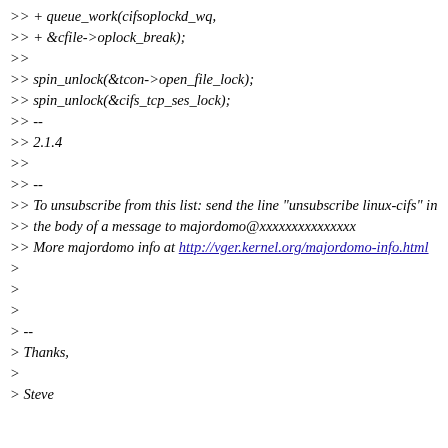>> + queue_work(cifsoplockd_wq,
>> + &cfile->oplock_break);
>>
>> spin_unlock(&tcon->open_file_lock);
>> spin_unlock(&cifs_tcp_ses_lock);
>> --
>> 2.1.4
>>
>> --
>> To unsubscribe from this list: send the line "unsubscribe linux-cifs" in
>> the body of a message to majordomo@xxxxxxxxxxxxxxx
>> More majordomo info at http://vger.kernel.org/majordomo-info.html
>
>
>
> --
> Thanks,
>
> Steve


--